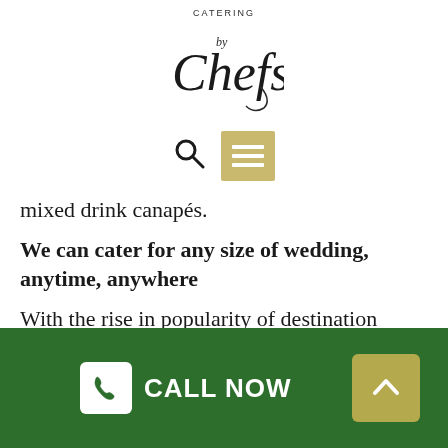[Figure (logo): Catering by Chefs logo — cursive 'Chefs' with decorative flourish, 'CATERING' text above]
[Figure (other): Navigation icons: magnifying glass search icon and tan/gold hamburger menu button with three white horizontal lines]
mixed drink canapés.
We can cater for any size of wedding, anytime, anywhere
With the rise in popularity of destination weddings, we have actually made it our responsibility to be offered on hand, anywhere your grand event is going to be set in Moonee Ponds! Our event supervisors will make your life simple, providing the meals to your place, freshly
CALL NOW